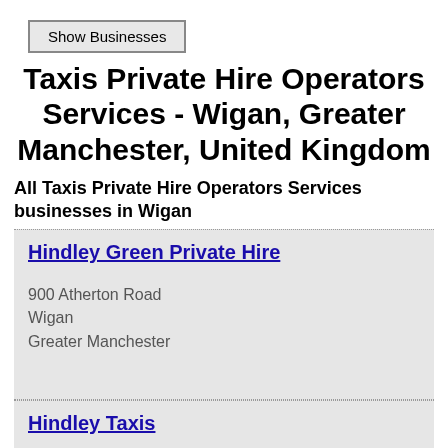Show Businesses
Taxis Private Hire Operators Services - Wigan, Greater Manchester, United Kingdom
All Taxis Private Hire Operators Services businesses in Wigan
Hindley Green Private Hire
900 Atherton Road
Wigan
Greater Manchester
Hindley Taxis
Albert Street